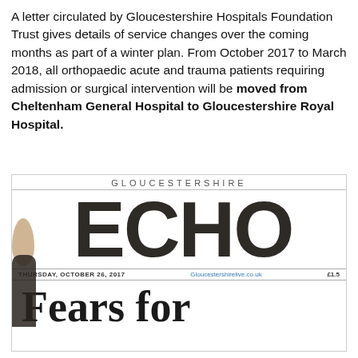A letter circulated by Gloucestershire Hospitals Foundation Trust gives details of service changes over the coming months as part of a winter plan. From October 2017 to March 2018, all orthopaedic acute and trauma patients requiring admission or surgical intervention will be moved from Cheltenham General Hospital to Gloucestershire Royal Hospital.
[Figure (photo): A photograph of the front page of the Gloucestershire Echo newspaper, Thursday October 26, 2017, showing the masthead 'GLOUCESTERSHIRE ECHO' and the beginning of a headline reading 'Fears for' with a person holding the newspaper.]